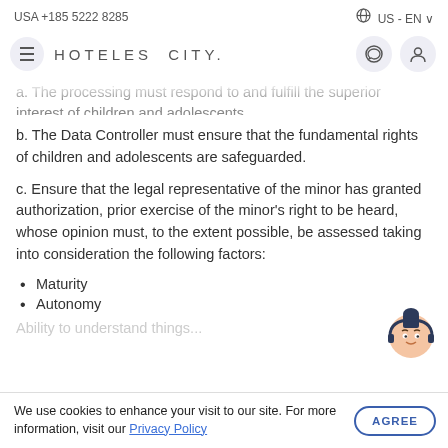USA +185 5222 8285   US - EN
HOTELES CITY.
a. The processing must respond to and fulfill the superior interest of children and adolescents.
b. The Data Controller must ensure that the fundamental rights of children and adolescents are safeguarded.
c. Ensure that the legal representative of the minor has granted authorization, prior exercise of the minor's right to be heard, whose opinion must, to the extent possible, be assessed taking into consideration the following factors:
Maturity
Autonomy
Ability to understand things...
We use cookies to enhance your visit to our site. For more information, visit our Privacy Policy